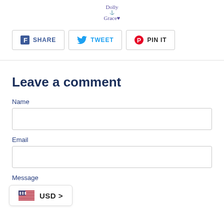[Figure (logo): Dolly Grace brand logo with small icon and stylized text]
SHARE   TWEET   PIN IT
Leave a comment
Name
Email
Message
[Figure (other): USD currency selector widget with US flag]